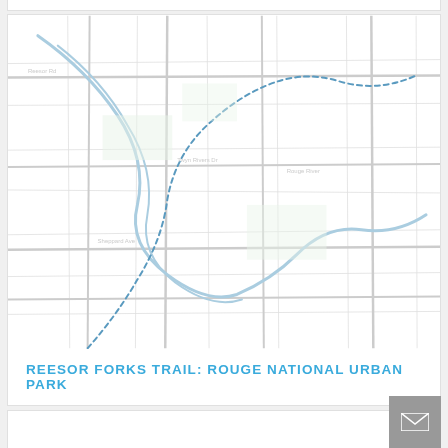[Figure (map): A map image of Reesor Forks Trail in Rouge National Urban Park, showing trail paths, waterways, and terrain features in light grey tones on white background.]
REESOR FORKS TRAIL: ROUGE NATIONAL URBAN PARK